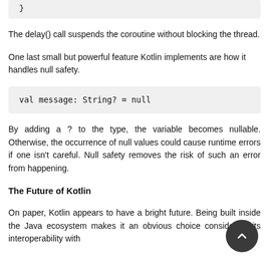}
The delay() call suspends the coroutine without blocking the thread.
One last small but powerful feature Kotlin implements are how it handles null safety.
val message: String? = null
By adding a ? to the type, the variable becomes nullable. Otherwise, the occurrence of null values could cause runtime errors if one isn't careful. Null safety removes the risk of such an error from happening.
The Future of Kotlin
On paper, Kotlin appears to have a bright future. Being built inside the Java ecosystem makes it an obvious choice considering its interoperability with the underlying platform, both the Android and Kotlin compiler will be